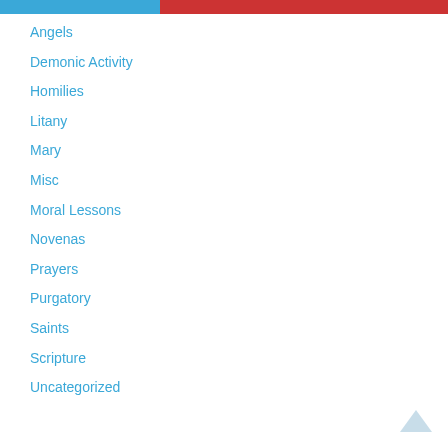Angels
Demonic Activity
Homilies
Litany
Mary
Misc
Moral Lessons
Novenas
Prayers
Purgatory
Saints
Scripture
Uncategorized